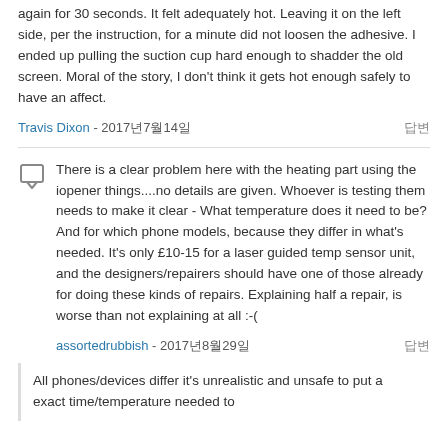again for 30 seconds. It felt adequately hot. Leaving it on the left side, per the instruction, for a minute did not loosen the adhesive. I ended up pulling the suction cup hard enough to shadder the old screen. Moral of the story, I don't think it gets hot enough safely to have an affect.
Travis Dixon - 2017년7월14일
There is a clear problem here with the heating part using the iopener things....no details are given. Whoever is testing them needs to make it clear - What temperature does it need to be? And for which phone models, because they differ in what's needed. It's only £10-15 for a laser guided temp sensor unit, and the designers/repairers should have one of those already for doing these kinds of repairs. Explaining half a repair, is worse than not explaining at all :-(
assortedrubbish - 2017년8월29일
All phones/devices differ it's unrealistic and unsafe to put a exact time/temperature needed to